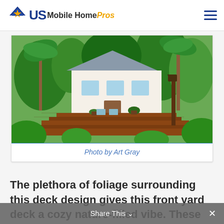US Mobile Home Pros
[Figure (photo): A lush tropical front yard deck with multi-level wooden decking, potted plants, palm trees, a white home in the background, and a decorative lantern post]
Photo by Art Gray
The plethora of foliage surrounding this deck design gives this front yard deck a cozy nature-filled vibe. These homeowners staggered potted plants on the deck and around the comfy deck chairs.
Share This